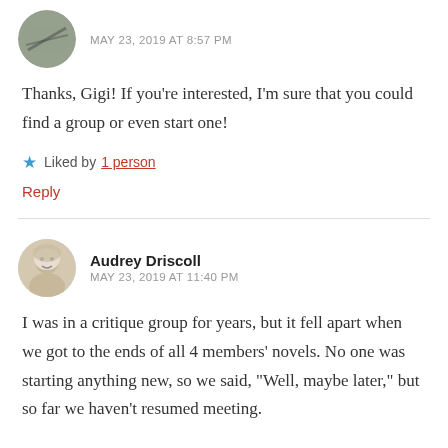MAY 23, 2019 AT 8:57 PM
Thanks, Gigi! If you're interested, I'm sure that you could find a group or even start one!
★ Liked by 1 person
Reply
Audrey Driscoll
MAY 23, 2019 AT 11:40 PM
I was in a critique group for years, but it fell apart when we got to the ends of all 4 members' novels. No one was starting anything new, so we said, "Well, maybe later," but so far we haven't resumed meeting.